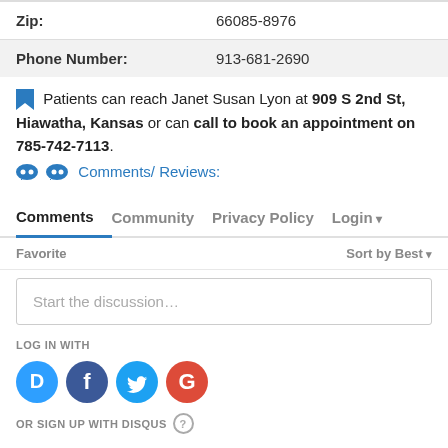| Zip: | 66085-8976 |
| Phone Number: | 913-681-2690 |
Patients can reach Janet Susan Lyon at 909 S 2nd St, Hiawatha, Kansas or can call to book an appointment on 785-742-7113.
Comments/ Reviews:
Comments  Community  Privacy Policy  Login
Favorite  Sort by Best
Start the discussion…
LOG IN WITH
[Figure (other): Social login icons: Disqus (blue speech bubble with D), Facebook (dark blue circle with f), Twitter (light blue circle with bird), Google (red circle with G)]
OR SIGN UP WITH DISQUS